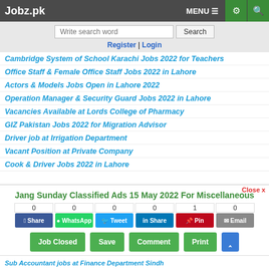Jobz.pk | MENU | settings | search
Write search word | Search
Register | Login
Cambridge System of School Karachi Jobs 2022 for Teachers
Office Staff & Female Office Staff Jobs 2022 in Lahore
Actors & Models Jobs Open in Lahore 2022
Operation Manager & Security Guard Jobs 2022 in Lahore
Vacancies Available at Lords College of Pharmacy
GIZ Pakistan Jobs 2022 for Migration Advisor
Driver job at Irrigation Department
Vacant Position at Private Company
Cook & Driver Jobs 2022 in Lahore
Jang Sunday Classified Ads 15 May 2022 For Miscellaneous
0 Share | 0 WhatsApp | 0 Tweet | 0 Share | 1 Pin | 0 Email
Job Closed | Save | Comment | Print | ^
Sub Accountant jobs at Finance Department Sindh